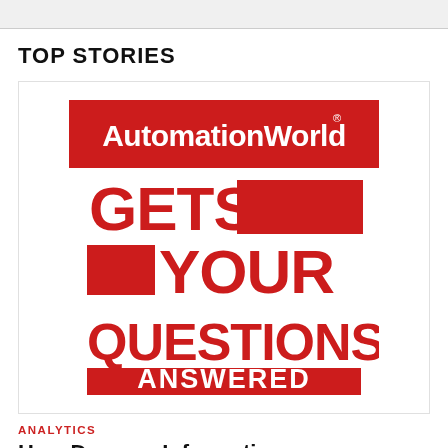TOP STORIES
[Figure (logo): AutomationWorld logo banner with red background and white text, below which large red bold text reads GETS YOUR QUESTIONS ANSWERED with decorative red rectangle shapes]
ANALYTICS
How Does an Information